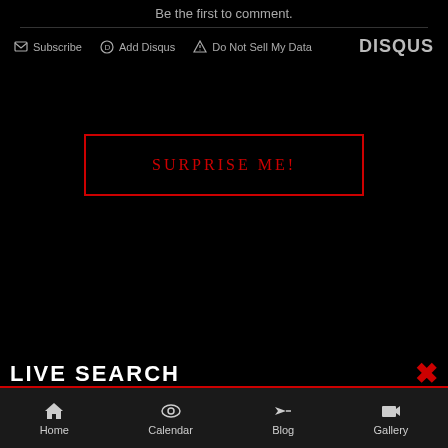Be the first to comment.
Subscribe  Add Disqus  Do Not Sell My Data  DISQUS
[Figure (screenshot): SURPRISE ME! button with red border on black background]
LIVE SEARCH
Home  Calendar  Blog  Gallery